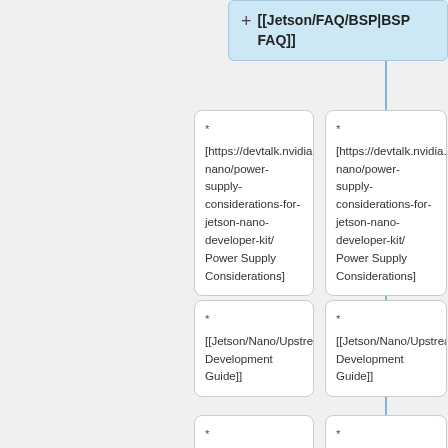[[Jetson/FAQ/BSP|BSP FAQ]]
[https://devtalk.nvidia.com/default/topic/1048640/jetson-nano/power-supply-considerations-for-jetson-nano-developer-kit/ Power Supply Considerations]
[https://devtalk.nvidia.com/default/topic/1048640/jetson-nano/power-supply-considerations-for-jetson-nano-developer-kit/ Power Supply Considerations]
[[Jetson/Nano/Upstream|Upstream Development Guide]]
[[Jetson/Nano/Upstream|Upstream Development Guide]]
[https://devtalk.n
[https://devtalk.n